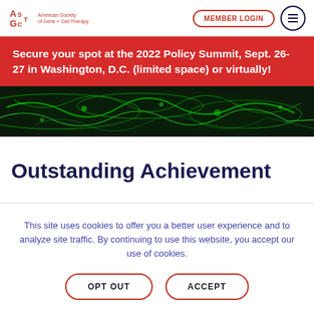American Society of Gene + Cell Therapy | MEMBER LOGIN
Secure your spot at the 2022 Policy Summit, Sept. 26-27 in Washington, D.C. (limited space) or virtually!
[Figure (photo): Green fluorescence microscopy image showing glowing green filaments/cells against a dark background]
Outstanding Achievement
This site uses cookies to offer you a better user experience and to analyze site traffic. By continuing to use this website, you accept our use of cookies.